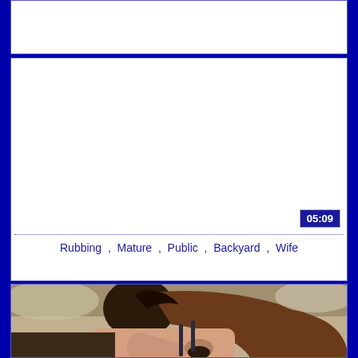[Figure (screenshot): White blank video thumbnail card at top]
[Figure (screenshot): Video thumbnail card with white blank video area showing duration badge 05:09 in bottom right corner]
Rubbing , Mature , Public , Backyard , Wife
[Figure (photo): Photo of a woman with long brown hair bending down outdoors near rocky/beach area]